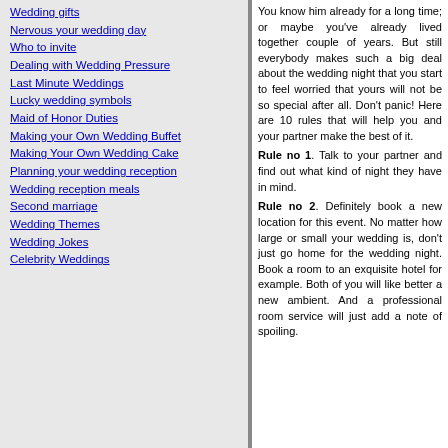Wedding gifts
Nervous your wedding day
Who to invite
Dealing with Wedding Pressure
Last Minute Weddings
Lucky wedding symbols
Maid of Honor Duties
Making your Own Wedding Buffet
Making Your Own Wedding Cake
Planning your wedding reception
Wedding reception meals
Second marriage
Wedding Themes
Wedding Jokes
Celebrity Weddings
You know him already for a long time; or maybe you've already lived together couple of years. But still everybody makes such a big deal about the wedding night that you start to feel worried that yours will not be so special after all. Don't panic! Here are 10 rules that will help you and your partner make the best of it.
Rule no 1. Talk to your partner and find out what kind of night they have in mind.
Rule no 2. Definitely book a new location for this event. No matter how large or small your wedding is, don't just go home for the wedding night. Book a room to an exquisite hotel for example. Both of you will like better a new ambient. And a professional room service will just add a note of spoiling.